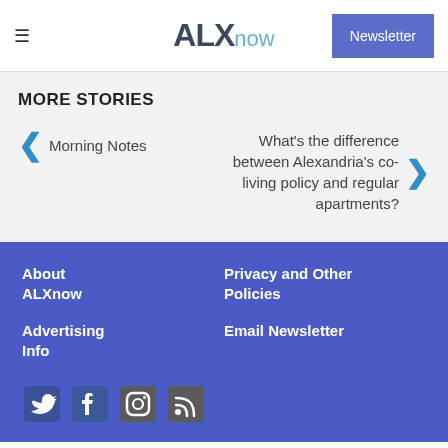≡  ALXnow  Newsletter
MORE STORIES
← Morning Notes
What's the difference between Alexandria's co-living policy and regular apartments? →
About ALXnow
Privacy and Other Policies
Advertising Info
Email Newsletter